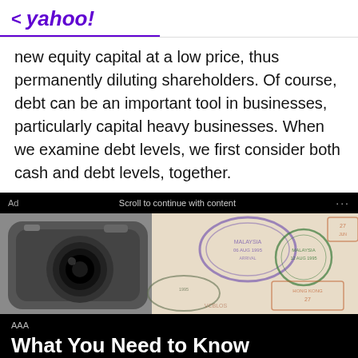< yahoo!
new equity capital at a low price, thus permanently diluting shareholders. Of course, debt can be an important tool in businesses, particularly capital heavy businesses. When we examine debt levels, we first consider both cash and debt levels, together.
[Figure (photo): Advertisement banner showing a camera and passport pages with stamps. Ad bar reads: Ad | Scroll to continue with content | ...]
AAA
What You Need to Know About Renewing